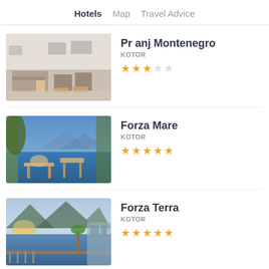Hotels  Map  Travel Advice
Pr anj Montenegro
KOTOR
★★★☆☆
Forza Mare
KOTOR
★★★★★
Forza Terra
KOTOR
★★★★★